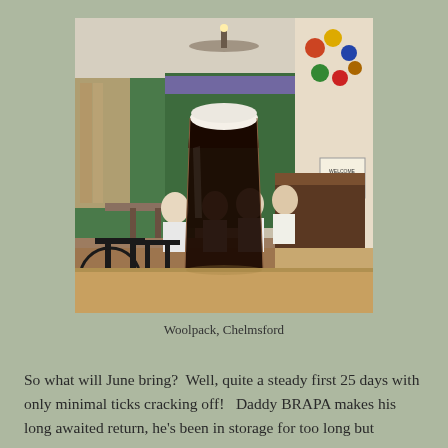[Figure (photo): Interior of Woolpack pub in Chelmsford showing patrons seated at tables, a wooden bar counter, green walls, beer tap handles, various pub signage, and in the foreground a pint glass of dark beer (stout/Guinness) on a wooden table.]
Woolpack, Chelmsford
So what will June bring?  Well, quite a steady first 25 days with only minimal ticks cracking off!   Daddy BRAPA makes his long awaited return, he's been in storage for too long but